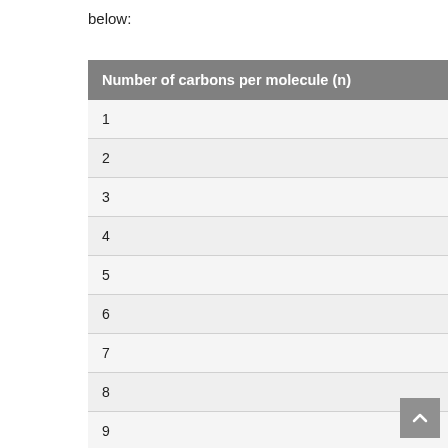below:
| Number of carbons per molecule (n) |
| --- |
| 1 |
| 2 |
| 3 |
| 4 |
| 5 |
| 6 |
| 7 |
| 8 |
| 9 |
| 10 |